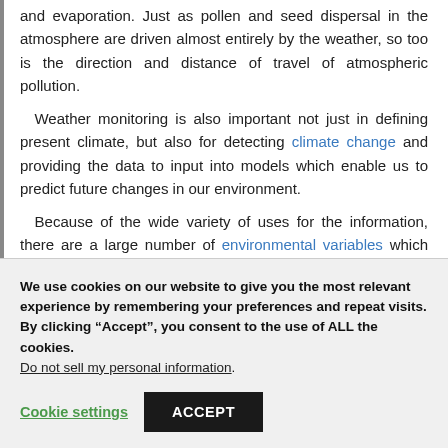and evaporation. Just as pollen and seed dispersal in the atmosphere are driven almost entirely by the weather, so too is the direction and distance of travel of atmospheric pollution.
Weather monitoring is also important not just in defining present climate, but also for detecting climate change and providing the data to input into models which enable us to predict future changes in our environment.
Because of the wide variety of uses for the information, there are a large number of environmental variables which are of interest to different groups of people. These include solar radiation, wind speed, wind direction, barometric
We use cookies on our website to give you the most relevant experience by remembering your preferences and repeat visits. By clicking “Accept”, you consent to the use of ALL the cookies.
Do not sell my personal information.
Cookie settings
ACCEPT